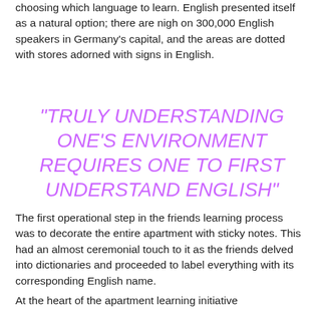choosing which language to learn. English presented itself as a natural option; there are nigh on 300,000 English speakers in Germany's capital, and the areas are dotted with stores adorned with signs in English.
“TRULY UNDERSTANDING ONE’S ENVIRONMENT REQUIRES ONE TO FIRST UNDERSTAND ENGLISH”
The first operational step in the friends learning process was to decorate the entire apartment with sticky notes. This had an almost ceremonial touch to it as the friends delved into dictionaries and proceeded to label everything with its corresponding English name.
At the heart of the apartment learning initiative